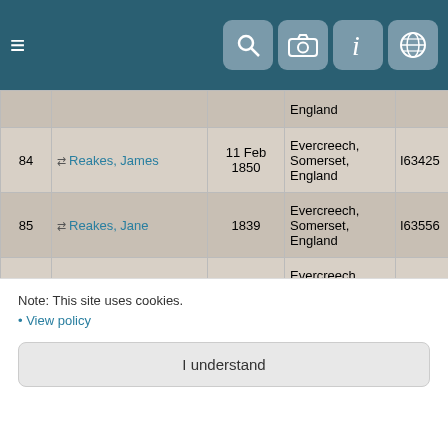Navigation bar with hamburger menu and icons for search, camera, info, globe
| # | Name | Date | Place | ID | Tree |
| --- | --- | --- | --- | --- | --- |
|  |  |  | England |  | Fa... Tre... |
| 84 | Reakes, James | 11 Feb 1850 | Evercreech, Somerset, England | I63425 | Th... Wi... Fa... Tre... |
| 85 | Reakes, Jane | 1839 | Evercreech, Somerset, England | I63556 | Th... Wi... Fa... Tre... |
| 86 | Reakes, Job | 17 Nov 1904 | Evercreech, Somerset, England | I63549 | Th... Wi... Fa... Tre... |
| 87 | Reakes, John | 1756 | Evercreech, Somerset, England | I63198 | Th... Wi... Fa... Tre... |
Note: This site uses cookies.
• View policy
I understand